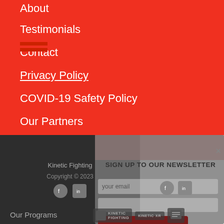About
Testimonials
Contact
Privacy Policy
COVID-19 Safety Policy
Our Partners
[Figure (screenshot): Newsletter signup modal overlay with red top band, close button (×), heading SIGN UP TO OUR NEWSLETTER, email input field, social media icons (Facebook, LinkedIn), second input field, dark red SUBSCRIBE button, and logos for Kinetic Fighting, Kinetic XR, and a third logo at bottom.]
SIGN UP TO OUR NEWSLETTER
Kinetic Fighting
Copyright © 2023
SUBSCRIBE
Our Programs